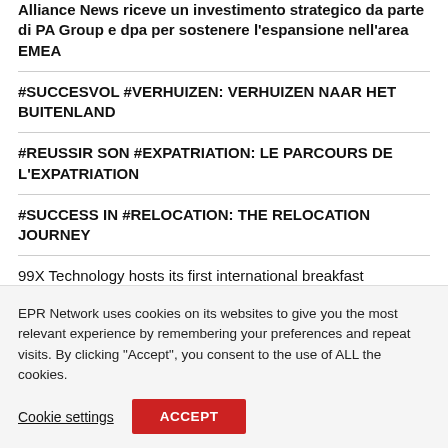Alliance News riceve un investimento strategico da parte di PA Group e dpa per sostenere l’espansione nell’area EMEA
#SUCCESVOL #VERHUIZEN: VERHUIZEN NAAR HET BUITENLAND
#REUSSIR SON #EXPATRIATION: LE PARCOURS DE L’EXPATRIATION
#SUCCESS IN #RELOCATION: THE RELOCATION JOURNEY
99X Technology hosts its first international breakfast
EPR Network uses cookies on its websites to give you the most relevant experience by remembering your preferences and repeat visits. By clicking “Accept”, you consent to the use of ALL the cookies.
Cookie settings  ACCEPT